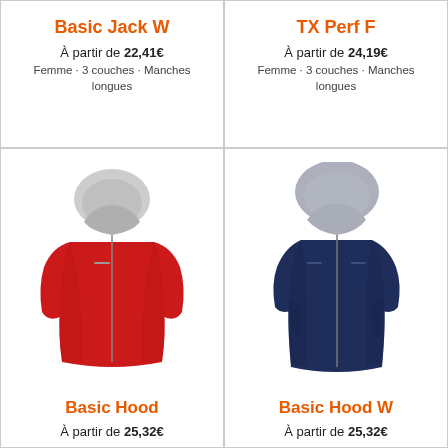Basic Jack W
À partir de 22,41€
Femme · 3 couches · Manches longues
TX Perf F
À partir de 24,19€
Femme · 3 couches · Manches longues
[Figure (photo): Red hooded softshell jacket (Basic Hood)]
Basic Hood
À partir de 25,32€
[Figure (photo): Navy blue hooded softshell women's jacket (Basic Hood W)]
Basic Hood W
À partir de 25,32€